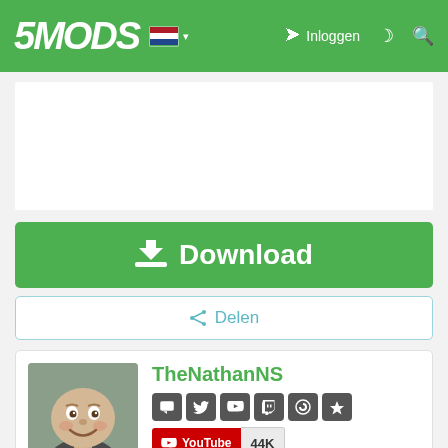5MODS — Inloggen
[Figure (screenshot): Advertisement placeholder area (white rectangle)]
Download
Delen
TheNathanNS
[Figure (photo): Avatar of TheNathanNS — animated character with round biscuit-like head and bow tie]
YouTube 44K
Doneren met PayPal